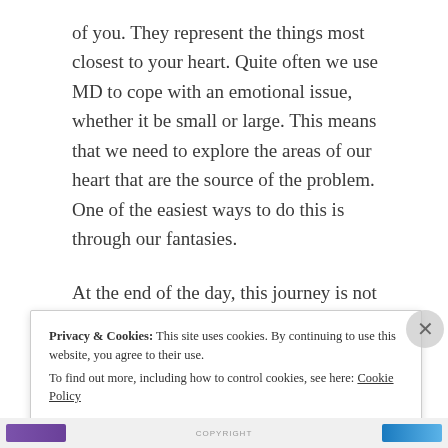of you. They represent the things most closest to your heart. Quite often we use MD to cope with an emotional issue, whether it be small or large. This means that we need to explore the areas of our heart that are the source of the problem. One of the easiest ways to do this is through our fantasies.
At the end of the day, this journey is not about conquering our daydreaming. It's about building a healthy relationship with it. This is the ultimate goal of The Dreaming Place: to help you relate to your
Privacy & Cookies: This site uses cookies. By continuing to use this website, you agree to their use.
To find out more, including how to control cookies, see here: Cookie Policy
Close and accept